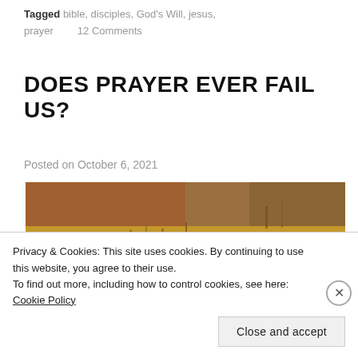Tagged bible, disciples, God's Will, jesus, prayer    12 Comments
DOES PRAYER EVER FAIL US?
Posted on October 6, 2021
[Figure (photo): A person with dark hair partially visible against a rocky landscape with dry golden grass and boulders in the background.]
Privacy & Cookies: This site uses cookies. By continuing to use this website, you agree to their use.
To find out more, including how to control cookies, see here: Cookie Policy